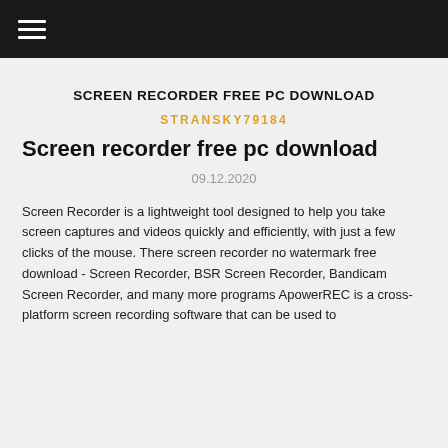☰
SCREEN RECORDER FREE PC DOWNLOAD
STRANSKY79184
Screen recorder free pc download
09.12.2020
Screen Recorder is a lightweight tool designed to help you take screen captures and videos quickly and efficiently, with just a few clicks of the mouse. There screen recorder no watermark free download - Screen Recorder, BSR Screen Recorder, Bandicam Screen Recorder, and many more programs ApowerREC is a cross-platform screen recording software that can be used to